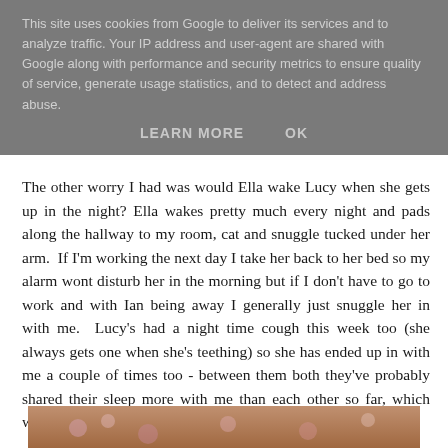This site uses cookies from Google to deliver its services and to analyze traffic. Your IP address and user-agent are shared with Google along with performance and security metrics to ensure quality of service, generate usage statistics, and to detect and address abuse.
LEARN MORE   OK
The other worry I had was would Ella wake Lucy when she gets up in the night? Ella wakes pretty much every night and pads along the hallway to my room, cat and snuggle tucked under her arm.  If I'm working the next day I take her back to her bed so my alarm wont disturb her in the morning but if I don't have to go to work and with Ian being away I generally just snuggle her in with me.  Lucy's had a night time cough this week too (she always gets one when she's teething) so she has ended up in with me a couple of times too - between them both they've probably shared their sleep more with me than each other so far, which wasn't quite the aim!
[Figure (photo): Partial view of a photo showing a floral fabric or clothing item, partially cut off at the bottom of the page.]